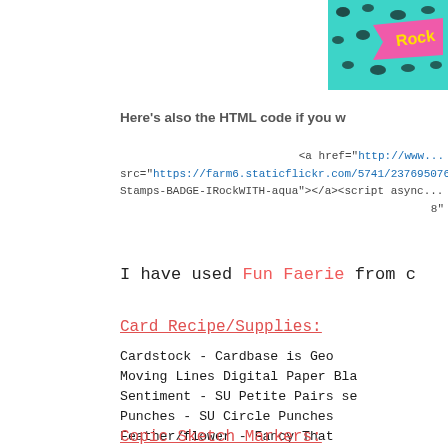[Figure (photo): Badge image with leopard print aqua background and 'Rock' text in yellow on pink banner, top right corner]
Here's also the HTML code if you w
<a href="http://www...
src="https://farm6.staticflickr.com/5741/23769507619...
Stamps-BADGE-IRockWITH-aqua"></a><script async...
8"
I have used Fun Faerie from c
Card Recipe/Supplies:
Cardstock - Cardbase is Geo
Moving Lines Digital Paper Bla
Sentiment - SU Petite Pairs se
Punches - SU Circle Punches
Feather/flower - Fancy That
Glitter - Stardust Stickles
Copic Sketch Markers: